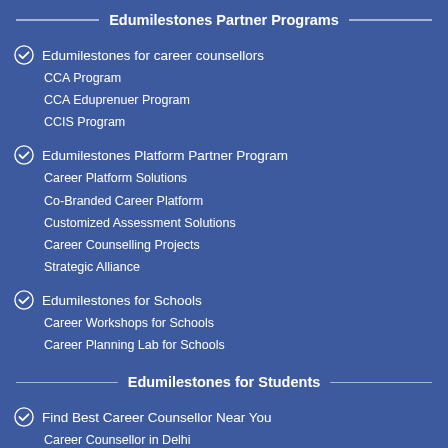Edumilestones Partner Programs
Edumilestones for career counsellors
CCA Program
CCA Eduprenuer Program
CCIS Program
Edumilestones Platform Partner Program
Career Platform Solutions
Co-Branded Career Platform
Customized Assessment Solutions
Career Counselling Projects
Strategic Alliance
Edumilestones for Schools
Career Workshops for Schools
Career Planning Lab for Schools
Edumilestones for Students
Find Best Career Counsellor Near You
Career Counsellor in Delhi
Career Counsellor in Bangalore
Career Counsellor in Mumbai